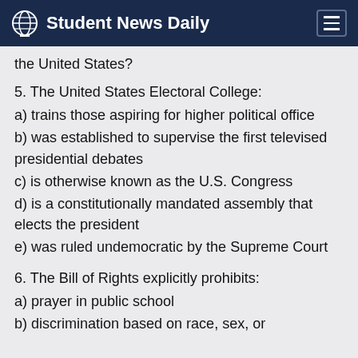Student News Daily
the United States?
5. The United States Electoral College:
a) trains those aspiring for higher political office
b) was established to supervise the first televised presidential debates
c) is otherwise known as the U.S. Congress
d) is a constitutionally mandated assembly that elects the president
e) was ruled undemocratic by the Supreme Court
6. The Bill of Rights explicitly prohibits:
a) prayer in public school
b) discrimination based on race, sex, or